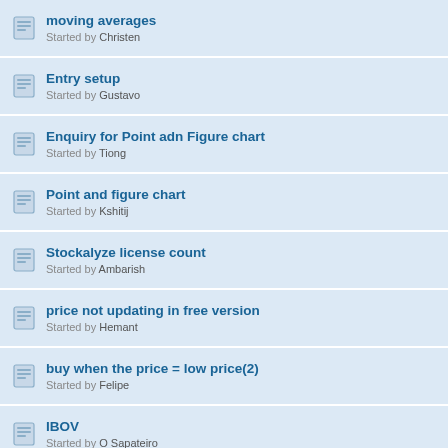moving averages — Started by Christen
Entry setup — Started by Gustavo
Enquiry for Point adn Figure chart — Started by Tiong
Point and figure chart — Started by Kshitij
Stockalyze license count — Started by Ambarish
price not updating in free version — Started by Hemant
buy when the price = low price(2) — Started by Felipe
IBOV — Started by O Sapateiro
csv files for generating charts — Started by Frank
Pages: 1 [2] 3 4 ... 10
Stockalyze > STOCKALYZE > General Discussion